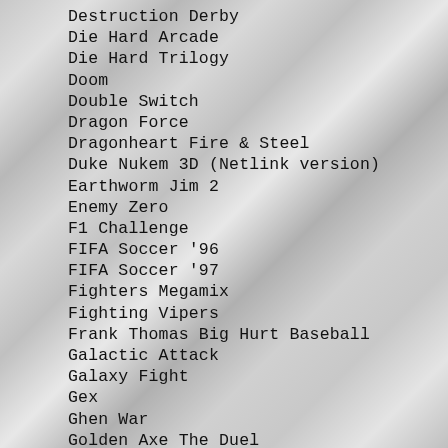Destruction Derby
Die Hard Arcade
Die Hard Trilogy
Doom
Double Switch
Dragon Force
Dragonheart Fire & Steel
Duke Nukem 3D (Netlink version)
Earthworm Jim 2
Enemy Zero
F1 Challenge
FIFA Soccer '96
FIFA Soccer '97
Fighters Megamix
Fighting Vipers
Frank Thomas Big Hurt Baseball
Galactic Attack
Galaxy Fight
Gex
Ghen War
Golden Axe The Duel
Grand Slam
Gridrunner
Guardian Heroes
Gun Griffon